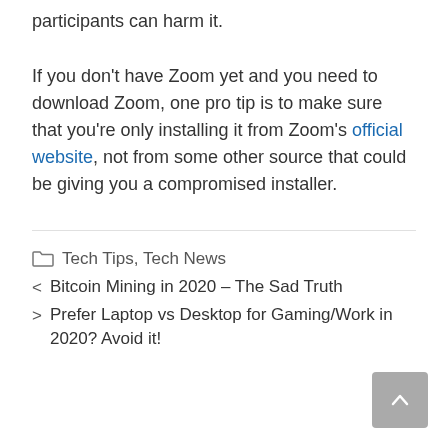participants can harm it.
If you don't have Zoom yet and you need to download Zoom, one pro tip is to make sure that you're only installing it from Zoom's official website, not from some other source that could be giving you a compromised installer.
Tech Tips, Tech News
< Bitcoin Mining in 2020 – The Sad Truth
> Prefer Laptop vs Desktop for Gaming/Work in 2020? Avoid it!